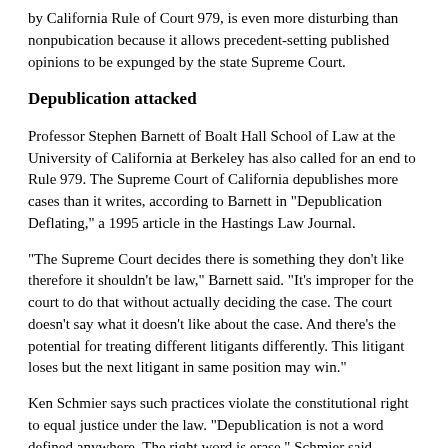by California Rule of Court 979, is even more disturbing than nonpubication because it allows precedent-setting published opinions to be expunged by the state Supreme Court.
Depublication attacked
Professor Stephen Barnett of Boalt Hall School of Law at the University of California at Berkeley has also called for an end to Rule 979. The Supreme Court of California depublishes more cases than it writes, according to Barnett in "Depublication Deflating," a 1995 article in the Hastings Law Journal.
"The Supreme Court decides there is something they don't like therefore it shouldn't be law," Barnett said. "It's improper for the court to do that without actually deciding the case. The court doesn't say what it doesn't like about the case. And there's the potential for treating different litigants differently. This litigant loses but the next litigant in same position may win."
Ken Schmier says such practices violate the constitutional right to equal justice under the law. "Depublication is not a word defined anywhere. The right word is erase," Schmier said.
"The whole system is not just unconstitutional, it's unwise as well."